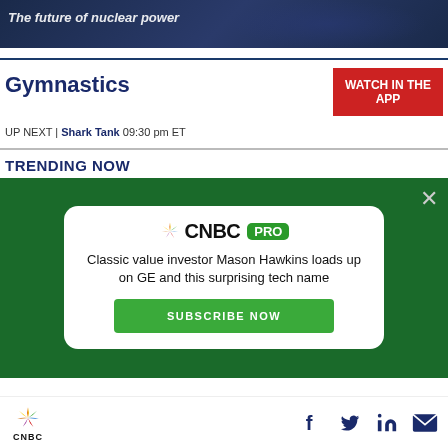[Figure (screenshot): Dark blue banner image with text 'The future of nuclear power' in white italic text]
Gymnastics
[Figure (other): Red button: WATCH IN THE APP]
UP NEXT | Shark Tank 09:30 pm ET
TRENDING NOW
[Figure (infographic): CNBC PRO popup ad on green background. Text: 'Classic value investor Mason Hawkins loads up on GE and this surprising tech name'. Button: SUBSCRIBE NOW]
[Figure (logo): CNBC peacock logo with CNBC text and social media icons (Facebook, Twitter, LinkedIn, Email) in footer bar]